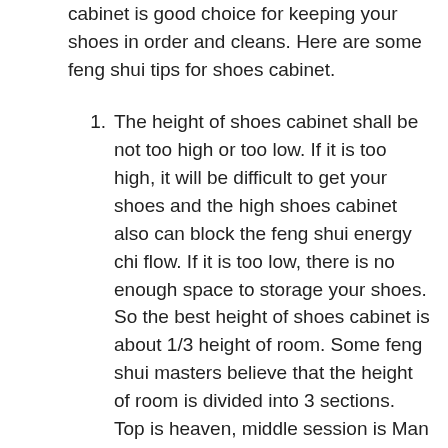cabinet is good choice for keeping your shoes in order and cleans. Here are some feng shui tips for shoes cabinet.
The height of shoes cabinet shall be not too high or too low. If it is too high, it will be difficult to get your shoes and the high shoes cabinet also can block the feng shui energy chi flow. If it is too low, there is no enough space to storage your shoes. So the best height of shoes cabinet is about 1/3 height of room. Some feng shui masters believe that the height of room is divided into 3 sections. Top is heaven, middle session is Man and bottom is earth. Shoes shall keep at earth section. So the shoes rack's height shall not beyond earth